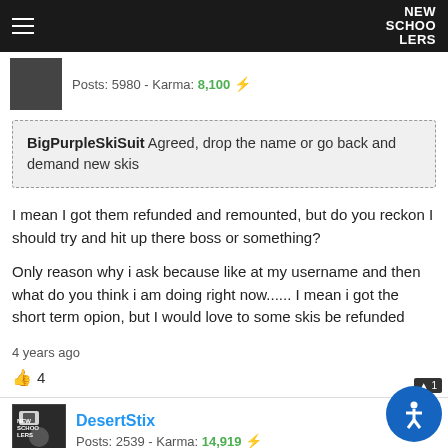NEW SCHOOLERS
Posts: 5980 - Karma: 8,100
BigPurpleSkiSuit Agreed, drop the name or go back and demand new skis
I mean I got them refunded and remounted, but do you reckon I should try and hit up there boss or something?

Only reason why i ask because like at my username and then what do you think i am doing right now...... I mean i got the short term opion, but I would love to some skis be refunded
4 years ago
👍 4
DesertStix
Posts: 2539 - Karma: 14,919